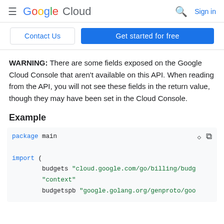Google Cloud  Sign in
Contact Us  Get started for free
WARNING: There are some fields exposed on the Google Cloud Console that aren't available on this API. When reading from the API, you will not see these fields in the return value, though they may have been set in the Cloud Console.
Example
[Figure (screenshot): Code block showing Go code with 'package main' and 'import (' with budgets and context imports from cloud.google.com/go/billing/budg and google.golang.org/genproto/goo]